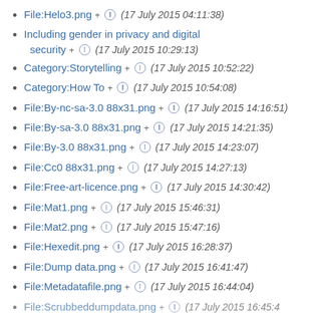File:Helo3.png + (17 July 2015 04:11:38)
Including gender in privacy and digital security + (17 July 2015 10:29:13)
Category:Storytelling + (17 July 2015 10:52:22)
Category:How To + (17 July 2015 10:54:08)
File:By-nc-sa-3.0 88x31.png + (17 July 2015 14:16:51)
File:By-sa-3.0 88x31.png + (17 July 2015 14:21:35)
File:By-3.0 88x31.png + (17 July 2015 14:23:07)
File:Cc0 88x31.png + (17 July 2015 14:27:13)
File:Free-art-licence.png + (17 July 2015 14:30:42)
File:Mat1.png + (17 July 2015 15:46:31)
File:Mat2.png + (17 July 2015 15:47:16)
File:Hexedit.png + (17 July 2015 16:28:37)
File:Dump data.png + (17 July 2015 16:41:47)
File:Metadatafile.png + (17 July 2015 16:44:04)
File:Scrubbeddumpdata.png + (17 July 2015 16:45:49)